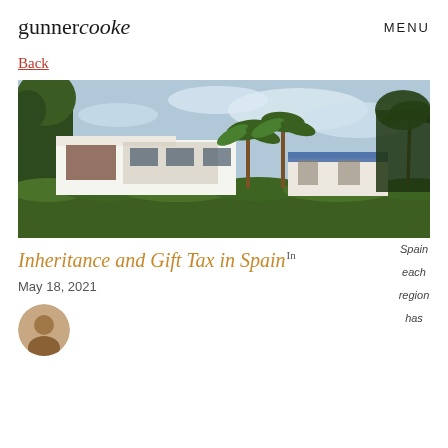gunnercooke   MENU
Back
[Figure (photo): Exterior photo of a modern white villa with palm trees and lush green hedges in Spain, under a partly cloudy sky.]
Inheritance and Gift Tax in Spain
In Spain each region has
May 18, 2021
[Figure (photo): Circular avatar portrait photo of an author (partially visible at bottom of page).]